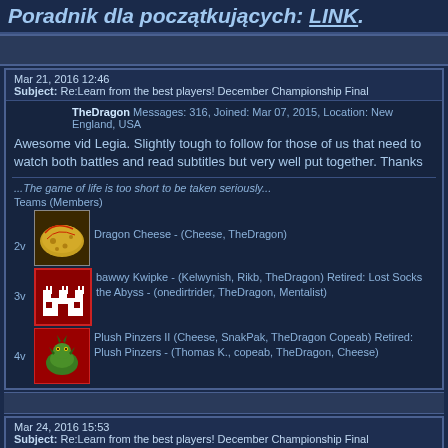Poradnik dla początkujących: LINK.
Mar 21, 2016 12:46
Subject: Re:Learn from the best players! December Championship Final
TheDragon Messages: 316, Joined: Mar 07, 2015, Location: New England, USA
Awesome vid Legia. Slightly tough to follow for those of us that need to watch both battles and read subtitles but very well put together. Thanks
...The game of life is too short to be taken seriously...
Teams (Members)
2v Dragon Cheese - (Cheese, TheDragon)
3v bawwy Kwipke - (Kelwynish, Rikb, TheDragon) Retired: Lost Socks the Abyss - (onedirtrider, TheDragon, Mentalist)
4v Plush Pinzers II (Cheese, SnakPak, TheDragon Copeab) Retired: Plush Pinzers - (Thomas K., copeab, TheDragon, Cheese)
Mar 24, 2016 15:53
Subject: Re:Learn from the best players! December Championship Final